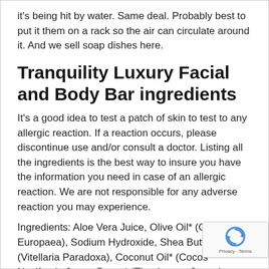it's being hit by water. Same deal. Probably best to put it them on a rack so the air can circulate around it. And we sell soap dishes here.
Tranquility Luxury Facial and Body Bar ingredients
It's a good idea to test a patch of skin to test to any allergic reaction. If a reaction occurs, please discontinue use and/or consult a doctor. Listing all the ingredients is the best way to insure you have the information you need in case of an allergic reaction. We are not responsible for any adverse reaction you may experience.
Ingredients: Aloe Vera Juice, Olive Oil* (Olea Europaea), Sodium Hydroxide, Shea Butter* (Vitellaria Paradoxa), Coconut Oil* (Cocos Nucifera), Cocoa Butter* (Theobroma Cacao),